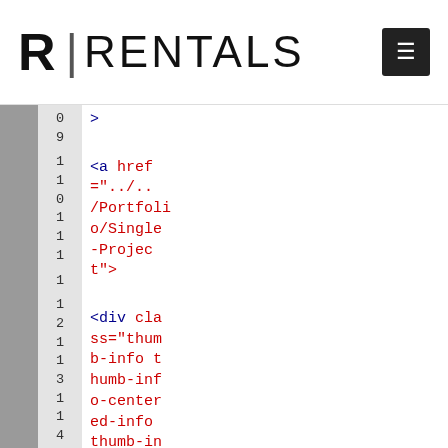R|RENTALS
[Figure (screenshot): Code editor screenshot showing HTML code with line numbers. The code shows an anchor tag with href='../../Portfolio/Single-Project' and a div with class='thumb-info thumb-info-centered-info thumb-info-no-borders' and a span with class starting with 'thu'.]